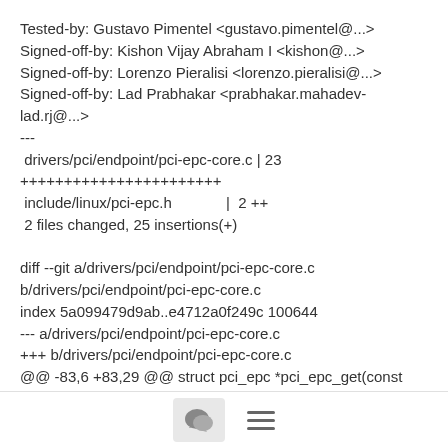Tested-by: Gustavo Pimentel <gustavo.pimentel@...>
Signed-off-by: Kishon Vijay Abraham I <kishon@...>
Signed-off-by: Lorenzo Pieralisi <lorenzo.pieralisi@...>
Signed-off-by: Lad Prabhakar <prabhakar.mahadev-lad.rj@...>
---
 drivers/pci/endpoint/pci-epc-core.c | 23
+++++++++++++++++++++++
 include/linux/pci-epc.h             |  2 ++
 2 files changed, 25 insertions(+)

diff --git a/drivers/pci/endpoint/pci-epc-core.c
b/drivers/pci/endpoint/pci-epc-core.c
index 5a099479d9ab..e4712a0f249c 100644
--- a/drivers/pci/endpoint/pci-epc-core.c
+++ b/drivers/pci/endpoint/pci-epc-core.c
@@ -83,6 +83,29 @@ struct pci_epc *pci_epc_get(const char
*epc_name)
 }
[Figure (other): Footer bar with chat bubble icon button and hamburger menu icon]